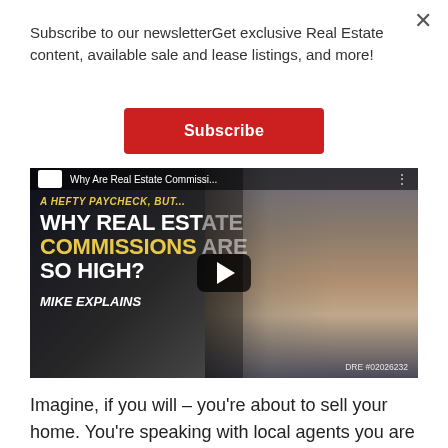Subscribe to our newsletterGet exclusive Real Estate content, available sale and lease listings, and more!
Subscribe
[Figure (screenshot): Video thumbnail showing a man in a dark suit with text overlay: 'A HEFTY PAYCHECK, BUT... WHY REAL ESTATE COMMISSIONS ARE SO HIGH? MIKE EXPLAINS'. Video title bar reads 'Why Are Real Estate Commissi...' with a play button overlay. DRE #02026232 shown in bottom right.]
Imagine, if you will – you're about to sell your home. You're speaking with local agents you are familiar with, asking them about the closing costs